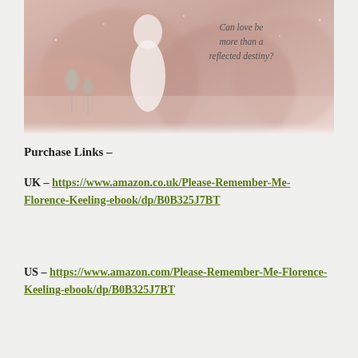[Figure (illustration): Book cover image showing a romantic winter scene with a person in a white dress in a snowy, misty pink-toned landscape with text 'Can love be more than a reflected destiny?']
Purchase Links –
UK – https://www.amazon.co.uk/Please-Remember-Me-Florence-Keeling-ebook/dp/B0B325J7BT
US – https://www.amazon.com/Please-Remember-Me-Florence-Keeling-ebook/dp/B0B325J7BT